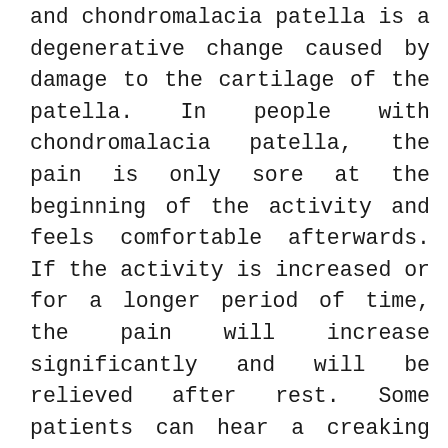and chondromalacia patella is a degenerative change caused by damage to the cartilage of the patella. In people with chondromalacia patella, the pain is only sore at the beginning of the activity and feels comfortable afterwards. If the activity is increased or for a longer period of time, the pain will increase significantly and will be relieved after rest. Some patients can hear a creaking sound when extending and flexing the knee joint, and can feel pain by pressing their fingers around the patella. The pain is characterized by no pain in the knee when standing up straight and no pain in the knee when squatting completely, but only in the semi-squatting position when the patella is under the most pressure, when the knee hurts the most, so often the knee is most uncomfortable when